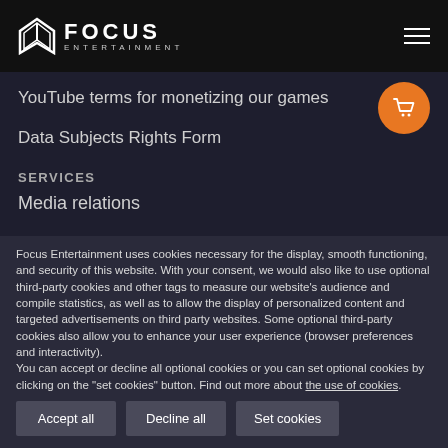FOCUS ENTERTAINMENT
YouTube terms for monetizing our games
Data Subjects Rights Form
SERVICES
Media relations
Focus Entertainment uses cookies necessary for the display, smooth functioning, and security of this website. With your consent, we would also like to use optional third-party cookies and other tags to measure our website's audience and compile statistics, as well as to allow the display of personalized content and targeted advertisements on third party websites. Some optional third-party cookies also allow you to enhance your user experience (browser preferences and interactivity).
You can accept or decline all optional cookies or you can set optional cookies by clicking on the "set cookies" button. Find out more about the use of cookies.
Accept all
Decline all
Set cookies